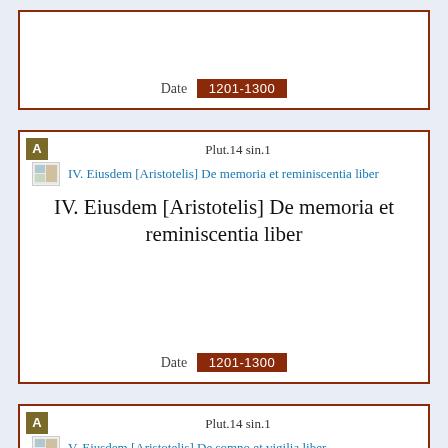Date 1201-1300
Plut.14 sin.1
IV. Eiusdem [Aristotelis] De memoria et reminiscentia liber
IV. Eiusdem [Aristotelis] De memoria et reminiscentia liber
Date 1201-1300
Plut.14 sin.1
V. Eiusdem [Aristotelis] De somno et vigilia liber